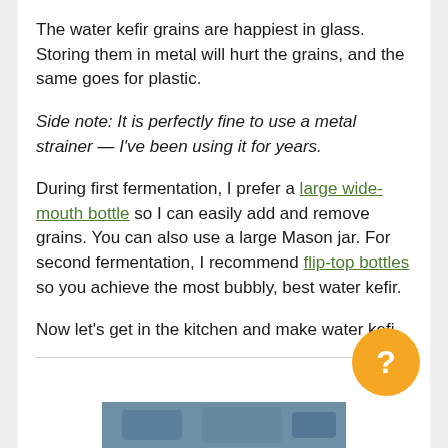The water kefir grains are happiest in glass. Storing them in metal will hurt the grains, and the same goes for plastic.
Side note: It is perfectly fine to use a metal strainer — I've been using it for years.
During first fermentation, I prefer a large wide-mouth bottle so I can easily add and remove grains. You can also use a large Mason jar. For second fermentation, I recommend flip-top bottles so you achieve the most bubbly, best water kefir.
Now let's get in the kitchen and make water kefi…
[Figure (photo): Partial photo of water kefir or related image at bottom of page]